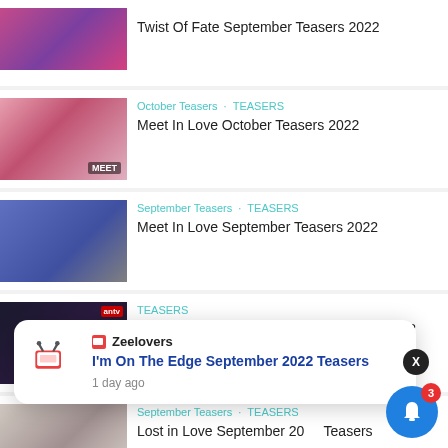Twist Of Fate September Teasers 2022
October Teasers · TEASERS
Meet In Love October Teasers 2022
September Teasers · TEASERS
Meet In Love September Teasers 2022
TEASERS
Naagin Season 5 Teasers – September 2022
September Teasers · TEASERS
Lost in Love September 2022 Teasers
[Figure (screenshot): Notification popup from Zeelovers: 'I'm On The Edge September 2022 Teasers' posted 1 day ago, with close X button]
[Figure (infographic): Blue bell notification button with red badge showing count 3]